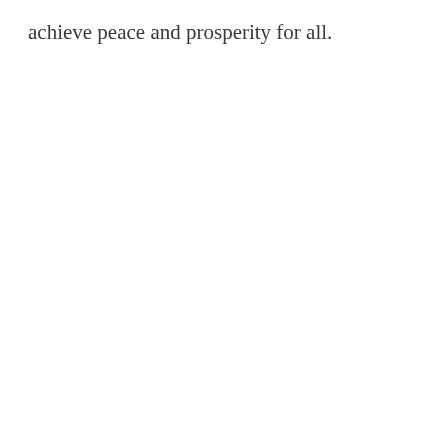achieve peace and prosperity for all.